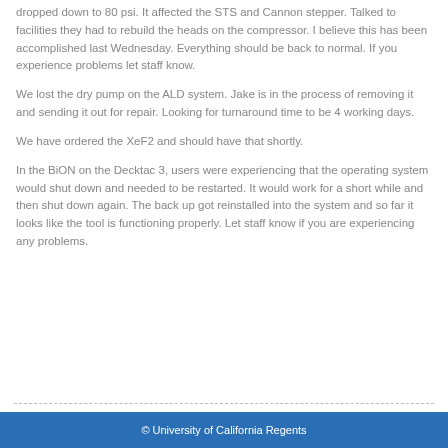dropped down to 80 psi. It affected the STS and Cannon stepper. Talked to facilities they had to rebuild the heads on the compressor. I believe this has been accomplished last Wednesday. Everything should be back to normal. If you experience problems let staff know.
We lost the dry pump on the ALD system. Jake is in the process of removing it and sending it out for repair. Looking for turnaround time to be 4 working days.
We have ordered the XeF2 and should have that shortly.
In the BiON on the Decktac 3, users were experiencing that the operating system would shut down and needed to be restarted. It would work for a short while and then shut down again. The back up got reinstalled into the system and so far it looks like the tool is functioning properly. Let staff know if you are experiencing any problems.
© University of California Regents